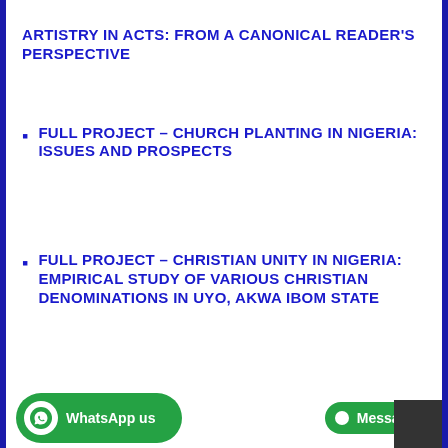ARTISTRY IN ACTS: FROM A CANONICAL READER'S PERSPECTIVE
FULL PROJECT – CHURCH PLANTING IN NIGERIA: ISSUES AND PROSPECTS
FULL PROJECT – CHRISTIAN UNITY IN NIGERIA: EMPIRICAL STUDY OF VARIOUS CHRISTIAN DENOMINATIONS IN UYO, AKWA IBOM STATE
WhatsApp us | Message